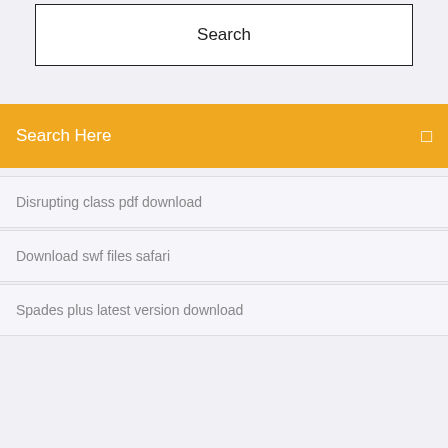Search
Search Here
Disrupting class pdf download
Download swf files safari
Spades plus latest version download